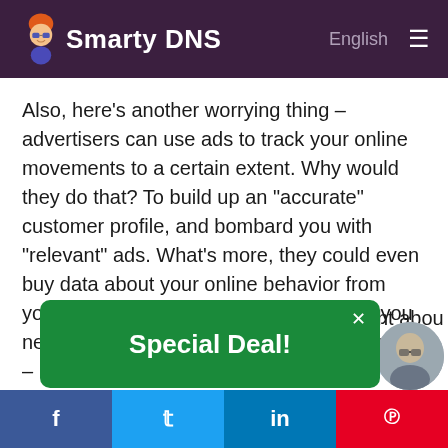SmartyDNS — English
Also, here’s another worrying thing – advertisers can use ads to track your online movements to a certain extent. Why would they do that? To build up an “accurate” customer profile, and bombard you with “relevant” ads. What’s more, they could even buy data about your online behavior from your ISP. Technically, that isn’t legal, but you never know what goes on behind the scenes – not to mention that in the US that happens openly, and it isn’t against the law.
[Figure (infographic): Green popup banner with white text reading 'Special Deal!' and a close X button in top right corner]
[Figure (infographic): Bottom social sharing bar with Facebook, Twitter, LinkedIn, and Pinterest icons]